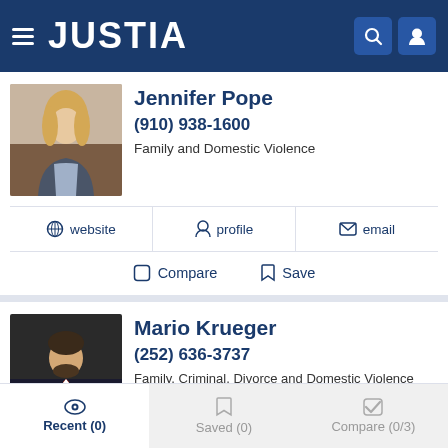JUSTIA
Jennifer Pope
(910) 938-1600
Family and Domestic Violence
website | profile | email
Compare | Save
Mario Krueger
(252) 636-3737
Family, Criminal, Divorce and Domestic Violence
profile | email
Recent (0) | Saved (0) | Compare (0/3)